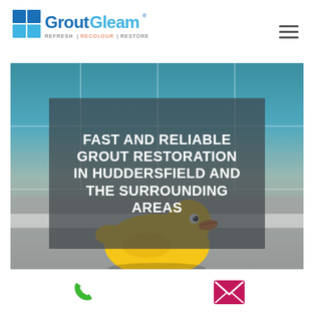[Figure (logo): GroutGleam logo with blue tile grid icon and text 'GroutGleam® REFRESH | RECOLOUR | RESTORE']
[Figure (photo): Hero image of a bathroom scene with teal tiles and a yellow rubber duck sitting on a white bathtub edge. Overlaid dark semi-transparent banner with white text.]
FAST AND RELIABLE GROUT RESTORATION IN HUDDERSFIELD AND THE SURROUNDING AREAS
[Figure (infographic): Footer contact bar with a green phone icon and a pink/magenta email envelope icon]